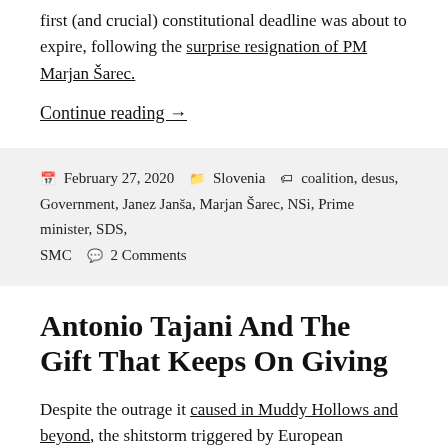first (and crucial) constitutional deadline was about to expire, following the surprise resignation of PM Marjan Šarec.
Continue reading →
Posted on February 27, 2020   Categories Slovenia   Tags coalition, desus, Government, Janez Janša, Marjan Šarec, NSi, Prime minister, SDS, SMC   2 Comments
Antonio Tajani And The Gift That Keeps On Giving
Despite the outrage it caused in Muddy Hollows and beyond, the shitstorm triggered by European Parliament president Antonio Tajani in a speech during a commemoration event about Slovenian